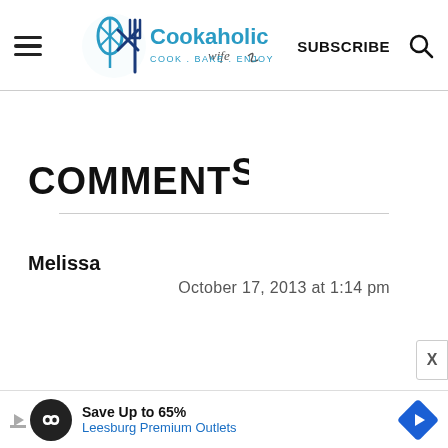[Figure (logo): Cookaholic Wife logo with whisk and fork, tagline COOK . BAKE . ENJOY]
SUBSCRIBE
COMMENTS
Melissa
October 17, 2013 at 1:14 pm
[Figure (infographic): Advertisement banner: Save Up to 65% Leesburg Premium Outlets]